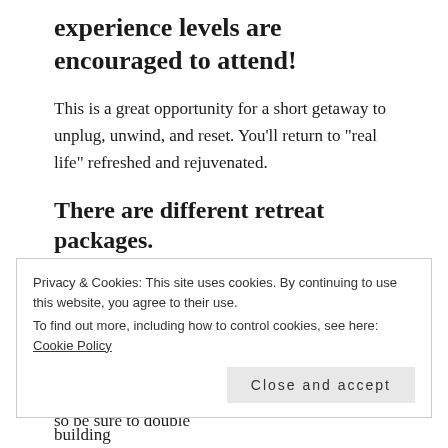experience levels are encouraged to attend!
This is a great opportunity for a short getaway to unplug, unwind, and reset. You’ll return to “real life” refreshed and rejuvenated.
There are different retreat packages.
Some of them include linens, pillows, towels, etc. Others do not. Please, when you’re registering, make sure you confirm you’re choosing the package that works best for you. The current packages range from $245 to $265. There are a few price increases so be sure to double check the latest.
Privacy & Cookies: This site uses cookies. By continuing to use this website, you agree to their use.
To find out more, including how to control cookies, see here: Cookie Policy
prior to the retreat. It’s where we’ll really start building